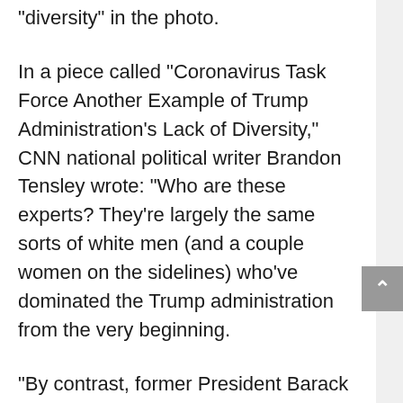“diversity” in the photo.
In a piece called “Coronavirus Task Force Another Example of Trump Administration’s Lack of Diversity,” CNN national political writer Brandon Tensley wrote: “Who are these experts? They’re largely the same sorts of white men (and a couple women on the sidelines) who’ve dominated the Trump administration from the very beginning.
“By contrast, former President Barack Obama’s circle of advisers in the face of the 2014 Ebola outbreak in West Africa